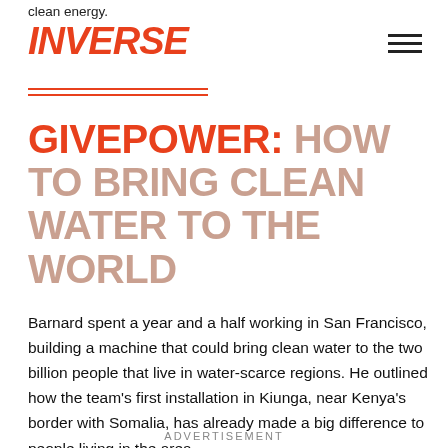clean energy.
INVERSE
GIVEPOWER: HOW TO BRING CLEAN WATER TO THE WORLD
Barnard spent a year and a half working in San Francisco, building a machine that could bring clean water to the two billion people that live in water-scarce regions. He outlined how the team's first installation in Kiunga, near Kenya's border with Somalia, has already made a big difference to people living in the area.
ADVERTISEMENT